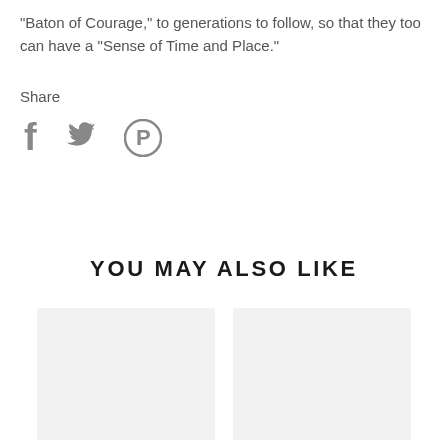“Baton of Courage,” to generations to follow, so that they too can have a “Sense of Time and Place.”
Share
[Figure (infographic): Three social media share icons: Facebook (f), Twitter (bird), Pinterest (p) in gray]
YOU MAY ALSO LIKE
[Figure (photo): Two product card placeholders with light gray background]